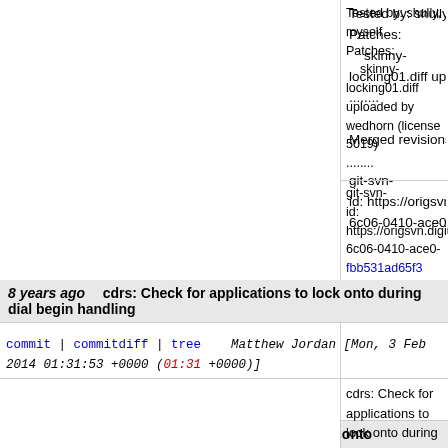Tested by: shully, myself
Patches:
    skinny-locking01.diff uploaded by wedhorn (license 5019)
........

Merged revisions 407197 from http://svn.asterisk.o

git-svn-id: https://origsvn.digium.com/svn/asterisk/trunk@
6c06-0410-ace0-fbb531ad65f3
8 years ago   cdrs: Check for applications to lock onto during dial begin handling
commit | commitdiff | tree   Matthew Jordan [Mon, 3 Feb 2014 01:31:53 +0000 (01:31 +0000)]
cdrs: Check for applications to lock onto during dia

This patch brings CDR processing further in line w operations, the application would not be locked to would instead continue to show the previously kno this would occur when a Parked call would time ou snapshot already locking the application to Park - Begin allows the Dial application to reassert its rig

(CDRs. Ugh.)

But hooray for the Parked Call tests for catching